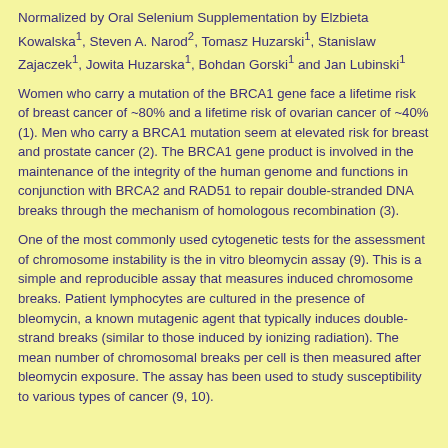Normalized by Oral Selenium Supplementation by Elzbieta Kowalska1, Steven A. Narod2, Tomasz Huzarski1, Stanislaw Zajaczek1, Jowita Huzarska1, Bohdan Gorski1 and Jan Lubinski1
Women who carry a mutation of the BRCA1 gene face a lifetime risk of breast cancer of ~80% and a lifetime risk of ovarian cancer of ~40% (1). Men who carry a BRCA1 mutation seem at elevated risk for breast and prostate cancer (2). The BRCA1 gene product is involved in the maintenance of the integrity of the human genome and functions in conjunction with BRCA2 and RAD51 to repair double-stranded DNA breaks through the mechanism of homologous recombination (3).
One of the most commonly used cytogenetic tests for the assessment of chromosome instability is the in vitro bleomycin assay (9). This is a simple and reproducible assay that measures induced chromosome breaks. Patient lymphocytes are cultured in the presence of bleomycin, a known mutagenic agent that typically induces double-strand breaks (similar to those induced by ionizing radiation). The mean number of chromosomal breaks per cell is then measured after bleomycin exposure. The assay has been used to study susceptibility to various types of cancer (9, 10).